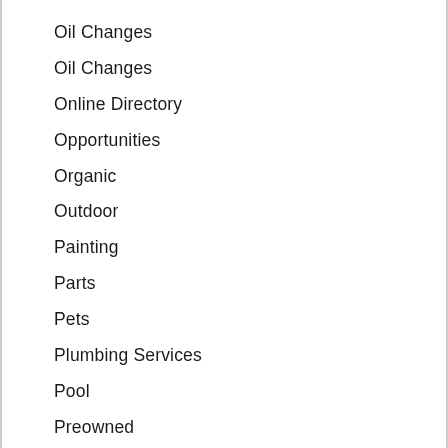Oil Changes
Oil Changes
Online Directory
Opportunities
Organic
Outdoor
Painting
Parts
Pets
Plumbing Services
Pool
Preowned
Products
Products - General
Promos